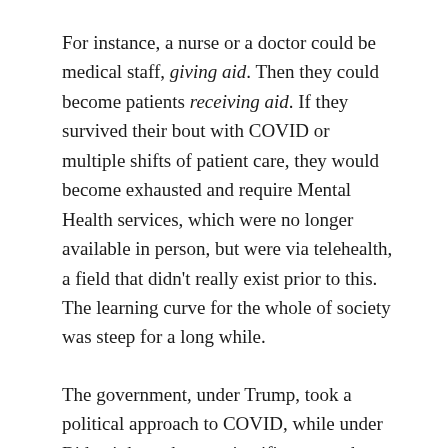For instance, a nurse or a doctor could be medical staff, giving aid. Then they could become patients receiving aid. If they survived their bout with COVID or multiple shifts of patient care, they would become exhausted and require Mental Health services, which were no longer available in person, but were via telehealth, a field that didn't really exist prior to this. The learning curve for the whole of society was steep for a long while.

The government, under Trump, took a political approach to COVID, while under Biden it has taken a scientific approach. The same entities — CDC, the Office of the President, and The Presidential Task Force on COVID — were tossed in and out of different spheres. Sadly, so were the American people. Regular